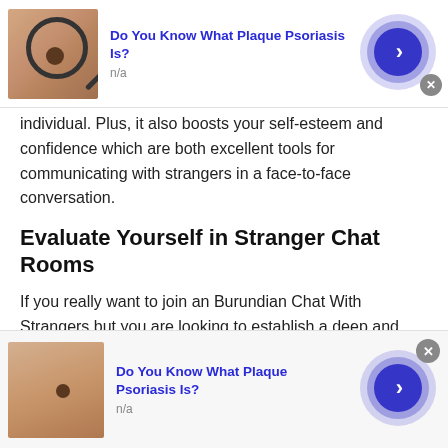[Figure (other): Top ad banner: skin with mole image and magnifier, bold blue title 'Do You Know What Plaque Psoriasis Is?', subtitle 'n/a', dark blue arrow button, close X button]
individual. Plus, it also boosts your self-esteem and confidence which are both excellent tools for communicating with strangers in a face-to-face conversation.
Evaluate Yourself in Stranger Chat Rooms
If you really want to join an Burundian Chat With Strangers but you are looking to establish a deep and long-term relationship with a girl , you might want to evaluate yourself first. A deep and meaningful
[Figure (other): Bottom ad banner: skin with mole image, bold blue title 'Do You Know What Plaque Psoriasis Is?', subtitle 'n/a', dark blue arrow button, close X button]